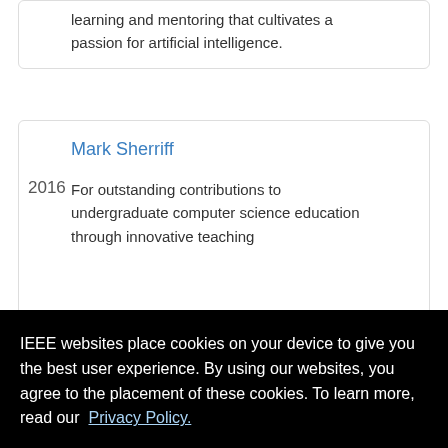learning and mentoring that cultivates a passion for artificial intelligence.
Mark Sherriff
2016
For outstanding contributions to undergraduate computer science education through innovative teaching
IEEE websites place cookies on your device to give you the best user experience. By using our websites, you agree to the placement of these cookies. To learn more, read our Privacy Policy.
Accept & Close
service to the education community.